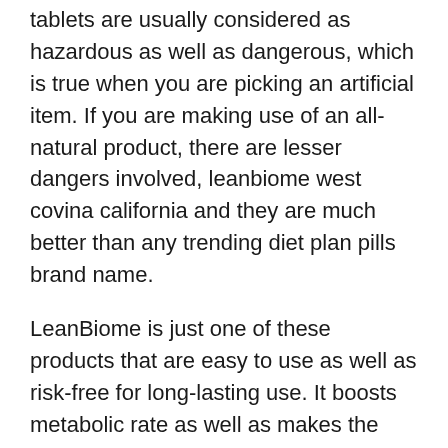tablets are usually considered as hazardous as well as dangerous, which is true when you are picking an artificial item. If you are making use of an all-natural product, there are lesser dangers involved, leanbiome west covina california and they are much better than any trending diet plan pills brand name.
LeanBiome is just one of these products that are easy to use as well as risk-free for long-lasting use. It boosts metabolic rate as well as makes the body usage every one of the calories acquired from food. The outcomes consist of better gastrointestinal health and resistance, which receives the type of improved lifestyle.
ONLINE PROMO: Visit This Site to Acquisition